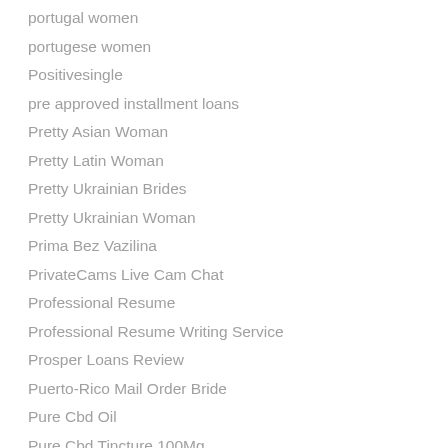portugal women
portugese women
Positivesingle
pre approved installment loans
Pretty Asian Woman
Pretty Latin Woman
Pretty Ukrainian Brides
Pretty Ukrainian Woman
Prima Bez Vazilina
PrivateCams Live Cam Chat
Professional Resume
Professional Resume Writing Service
Prosper Loans Review
Puerto-Rico Mail Order Bride
Pure Cbd Oil
Pure Cbd Tincture 100Mg
Pure Hemp Oil For Sale
Purekana Cbd Gummies Amazon